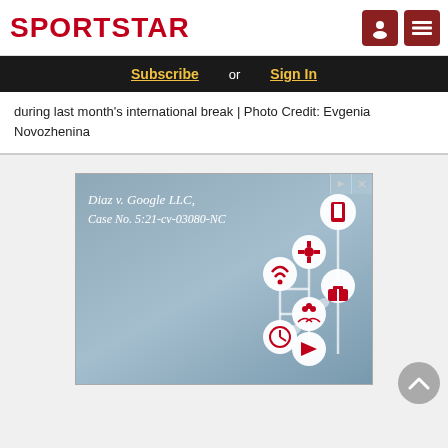SPORTSTAR
Subscribe or Sign In
during last month's international break | Photo Credit: Evgenia Novozhenina
[Figure (screenshot): Advertisement banner showing 'Diaz v. Google LLC, Case No. 5:21-cv-03080-NC' with tech icons on a grey-blue background]